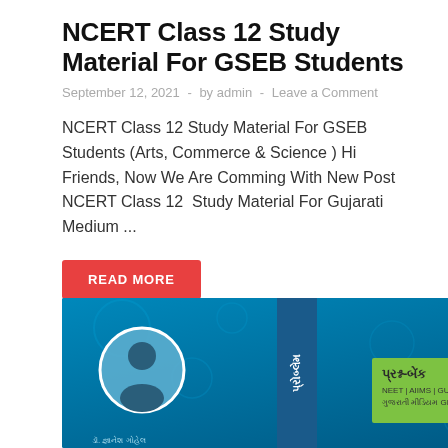NCERT Class 12 Study Material For GSEB Students
September 12, 2021  -  by admin  -  Leave a Comment
NCERT Class 12 Study Material For GSEB Students (Arts, Commerce & Science ) Hi Friends, Now We Are Comming With New Post NCERT Class 12  Study Material For Gujarati Medium ...
READ MORE
[Figure (photo): Book cover image on blue background showing a Gujarati medium biology/science question bank book with Gujarati text, a portrait photo, DNA helix and chameleon illustration]